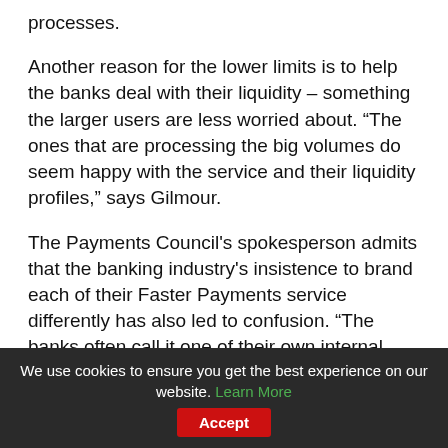processes.
Another reason for the lower limits is to help the banks deal with their liquidity – something the larger users are less worried about. “The ones that are processing the big volumes do seem happy with the service and their liquidity profiles,” says Gilmour.
The Payments Council's spokesperson admits that the banking industry's insistence to brand each of their Faster Payments service differently has also led to confusion. “The banks often call it one of their own internal system titles – they just see it as the way money gets around,” she says.
We use cookies to ensure you get the best experience on our website. Learn More  Accept